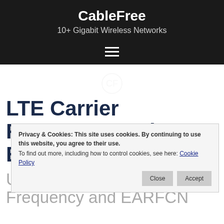CableFree
10+ Gigabit Wireless Networks
LTE Carrier Frequency and EARFCN
Privacy & Cookies: This site uses cookies. By continuing to use this website, you agree to their use.
To find out more, including how to control cookies, see here: Cookie Policy
Understanding LTE Carrier Frequency and EARFCN